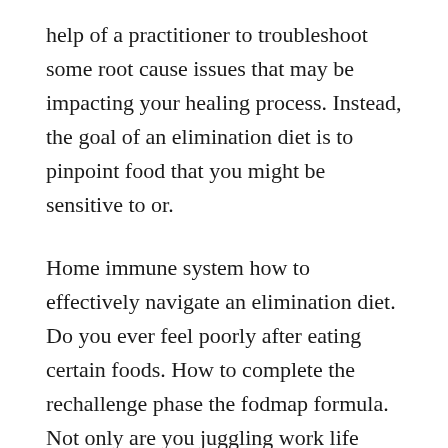help of a practitioner to troubleshoot some root cause issues that may be impacting your healing process. Instead, the goal of an elimination diet is to pinpoint food that you might be sensitive to or.
Home immune system how to effectively navigate an elimination diet. Do you ever feel poorly after eating certain foods. How to complete the rechallenge phase the fodmap formula. Not only are you juggling work life stress, trying to keep your diet low fodmap but also trying to pick the right challenge